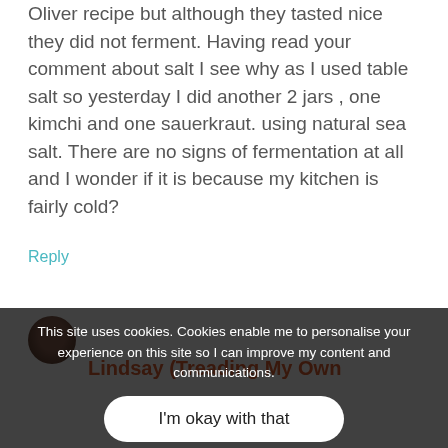Oliver recipe but although they tasted nice they did not ferment. Having read your comment about salt I see why as I used table salt so yesterday I did another 2 jars , one kimchi and one sauerkraut. using natural sea salt. There are no signs of fermentation at all and I wonder if it is because my kitchen is fairly cold?
Reply
Lindsay (Treading My Own
This site uses cookies. Cookies enable me to personalise your experience on this site so I can improve my content and communications.
I'm okay with that
kitchen is cold it will take longer to get things going. The other thing could be not using organic or spray-free